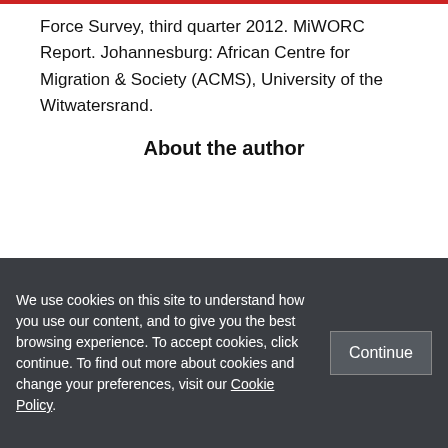Force Survey, third quarter 2012. MiWORC Report. Johannesburg: African Centre for Migration & Society (ACMS), University of the Witwatersrand.
About the author
[Figure (illustration): Generic user/author avatar icon — a grey circle with a silhouette of a person (head and shoulders) in white/light grey, on a light grey rectangular background.]
We use cookies on this site to understand how you use our content, and to give you the best browsing experience. To accept cookies, click continue. To find out more about cookies and change your preferences, visit our Cookie Policy.